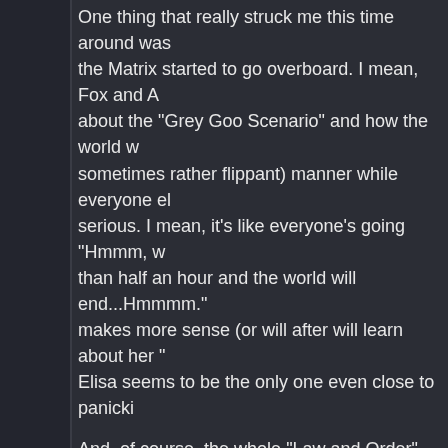One thing that really struck me this time around was the Matrix started to go overboard. I mean, Fox and A about the "Grey Goo Scenario" and how the world w sometimes rather flippant) manner while everyone el serious. I mean, it's like everyone's going "Hmmm, w than half an hour and the world will end...Hmmmm." makes more sense (or will after will learn about her " Elisa seems to be the only one even close to panicki
And, of course, the whole "Law and Order" thing.
But there was a lot about this I still liked.
Dingo was the big one. I'd been wondering what hap here he is, trying to start over. I liked this--we've alrea throughout the series (Demona, of course, but also M Renard for an episode), and some of those people re However, this was the first time that someone who w to reform of his own volition. Not only did Dingo prov and more able-bodied members of the Pack when th sane and...well, like you said, Greg, HUMAN. Actuall "quest for redemption"--his discussion about the nan